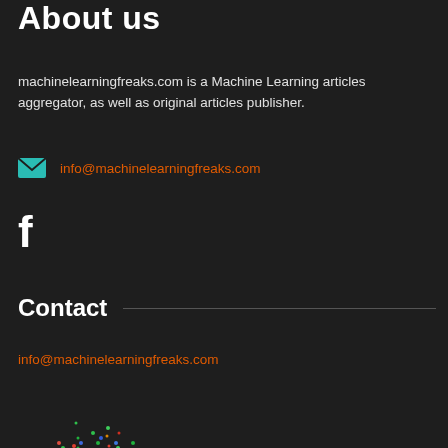About us
machinelearningfreaks.com is a Machine Learning articles aggregator, as well as original articles publisher.
info@machinelearningfreaks.com
[Figure (logo): Facebook 'f' icon in white]
Contact
info@machinelearningfreaks.com
[Figure (scatter-plot): Colorful scatter plot visualization of clustered data points in green, blue, red, and orange colors forming a roughly spherical cloud shape]